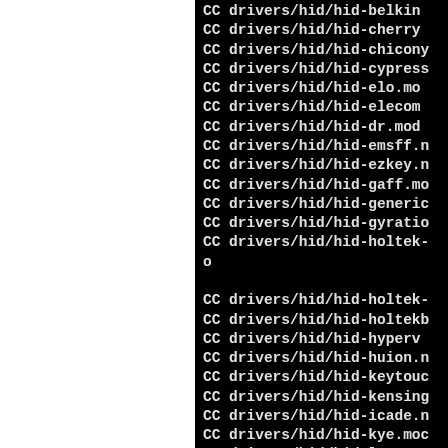[Figure (screenshot): Terminal/console output showing Linux kernel build (make) compile commands for HID drivers. Black background with white monospace text. Left portion is white (cropped/blank). Lines show 'CC drivers/hid/hid-*' build output.]